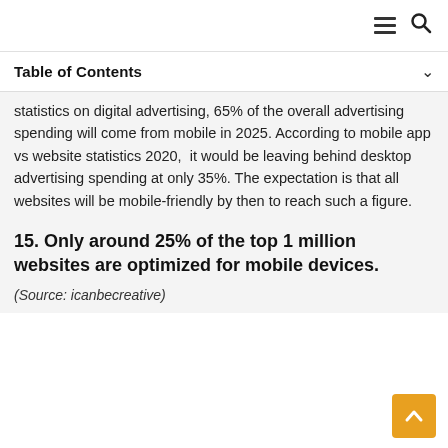≡ 🔍
Table of Contents
statistics on digital advertising, 65% of the overall advertising spending will come from mobile in 2025. According to mobile app vs website statistics 2020, it would be leaving behind desktop advertising spending at only 35%. The expectation is that all websites will be mobile-friendly by then to reach such a figure.
15. Only around 25% of the top 1 million websites are optimized for mobile devices.
(Source: icanbecreative)